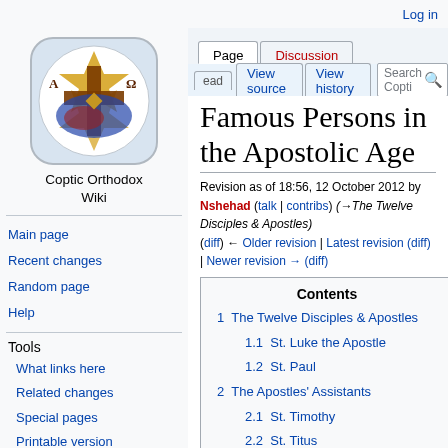Log in
[Figure (logo): Coptic Orthodox Wiki logo — circular emblem with star and cross over a map, with letters A and Omega]
Coptic Orthodox Wiki
Main page
Recent changes
Random page
Help
Tools
What links here
Related changes
Special pages
Printable version
Permanent link
Page information
Famous Persons in the Apostolic Age
Revision as of 18:56, 12 October 2012 by Nshehad (talk | contribs) (→The Twelve Disciples & Apostles)
(diff) ← Older revision | Latest revision (diff) | Newer revision → (diff)
| Contents |
| --- |
| 1  The Twelve Disciples & Apostles |
| 1.1  St. Luke the Apostle |
| 1.2  St. Paul |
| 2  The Apostles' Assistants |
| 2.1  St. Timothy |
| 2.2  St. Titus |
| 2.3  St. Silas |